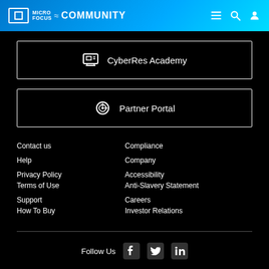Micro Focus Community
CyberRes Academy
Partner Portal
Contact us
Compliance
Help
Company
Privacy Policy
Accessibility
Terms of Use
Anti-Slavery Statement
Support
Careers
How To Buy
Investor Relations
Follow Us